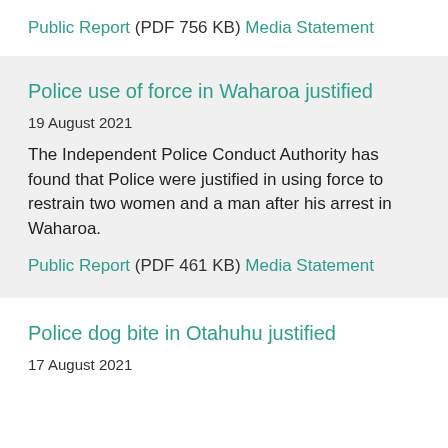Public Report (PDF 756 KB) Media Statement
Police use of force in Waharoa justified
19 August 2021
The Independent Police Conduct Authority has found that Police were justified in using force to restrain two women and a man after his arrest in Waharoa.
Public Report (PDF 461 KB) Media Statement
Police dog bite in Otahuhu justified
17 August 2021